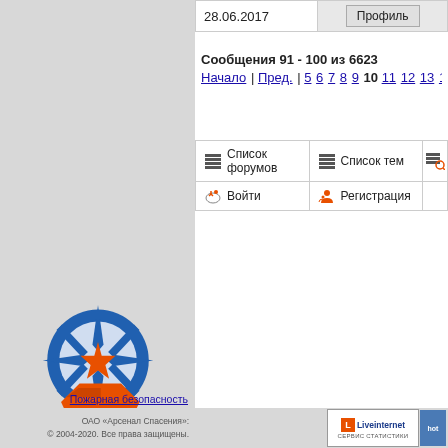| 28.06.2017 | Профиль |
| --- | --- |
Сообщения 91 - 100 из 6623
Начало | Пред. | 5 6 7 8 9 10 11 12 13 14 15 | С
| Список форумов | Список тем |  |
| --- | --- | --- |
| Войти | Регистрация |  |
[Figure (logo): Arsenal Spaseniya logo - compass rose with orange folder, blue circle]
Выставка техники и технологий
Разные статьи
Пожарная безопасность
ОАО «Арсенал Спасения»:
© 2004-2020. Все права защищены.